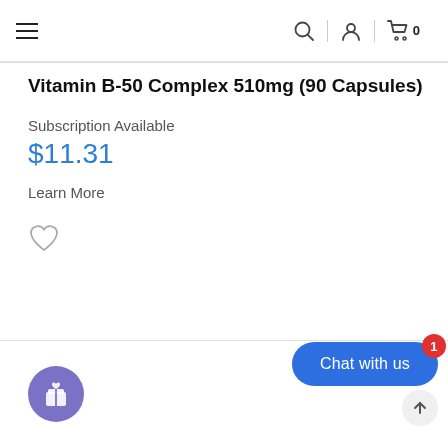Navigation bar with hamburger menu, search, user account, and cart (0)
Vitamin B-50 Complex 510mg (90 Capsules)
Subscription Available
$11.31
Learn More